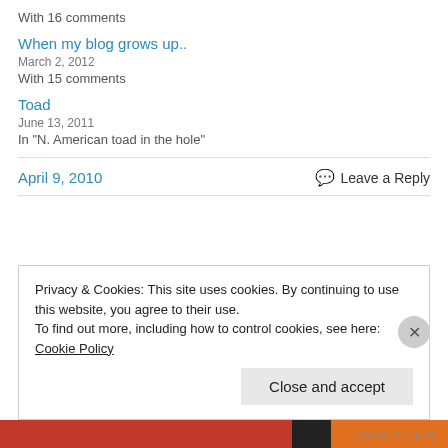With 16 comments
When my blog grows up..
March 2, 2012
With 15 comments
Toad
June 13, 2011
In "N. American toad in the hole"
April 9, 2010
Leave a Reply
Privacy & Cookies: This site uses cookies. By continuing to use this website, you agree to their use.
To find out more, including how to control cookies, see here: Cookie Policy
Close and accept